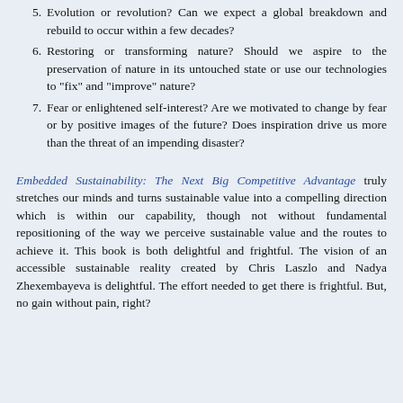5. Evolution or revolution? Can we expect a global breakdown and rebuild to occur within a few decades?
6. Restoring or transforming nature? Should we aspire to the preservation of nature in its untouched state or use our technologies to "fix" and "improve" nature?
7. Fear or enlightened self-interest? Are we motivated to change by fear or by positive images of the future? Does inspiration drive us more than the threat of an impending disaster?
Embedded Sustainability: The Next Big Competitive Advantage truly stretches our minds and turns sustainable value into a compelling direction which is within our capability, though not without fundamental repositioning of the way we perceive sustainable value and the routes to achieve it. This book is both delightful and frightful. The vision of an accessible sustainable reality created by Chris Laszlo and Nadya Zhexembayeva is delightful. The effort needed to get there is frightful. But, no gain without pain, right?